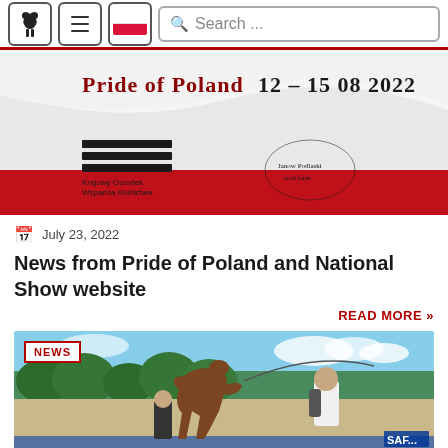Navigation bar with horse logo, menu icon, Polish flag, and Search input
[Figure (photo): Pride of Poland 12-15 08 2022 promotional banner with Polish flag (white and red wave), Krajowy Osrodek Wsparcia Rolnictwa logo and Janow Podlaski stud logo]
July 23, 2022
News from Pride of Poland and National Show website
READ MORE »
[Figure (photo): NEWS badge overlay on photo of a bay Arabian horse being shown outdoors, handler in white shirt, trees and blue sky in background, SAF... text visible bottom right]